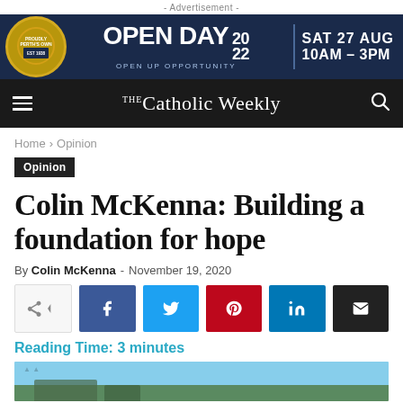- Advertisement -
[Figure (illustration): Open Day 2022 advertisement banner for a school or university. Dark navy background with gold badge/crest logo on left. Text reads OPEN DAY 20/22 OPEN UP OPPORTUNITY. Right side: SAT 27 AUG 10AM - 3PM.]
The Catholic Weekly
Home › Opinion
Opinion
Colin McKenna: Building a foundation for hope
By Colin McKenna - November 19, 2020
Reading Time: 3 minutes
[Figure (photo): Partial photo showing a building against a blue sky with some tree branches visible.]